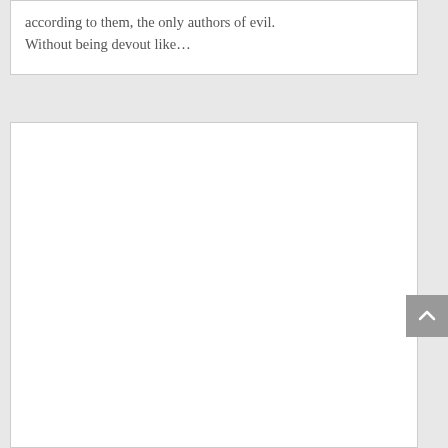according to them, the only authors of evil. Without being devout like…
[Figure (other): Empty white content box, likely a placeholder for additional content or image]